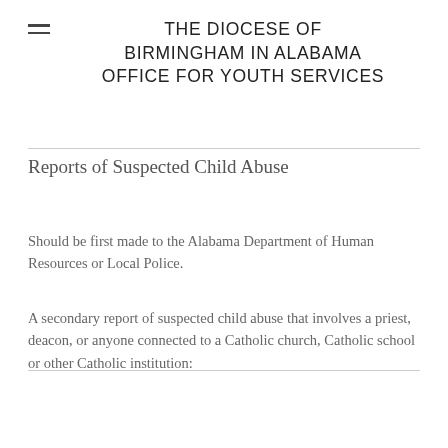THE DIOCESE OF BIRMINGHAM IN ALABAMA OFFICE FOR YOUTH SERVICES
Reports of Suspected Child Abuse
Should be first made to the Alabama Department of Human Resources or Local Police.
A secondary report of suspected child abuse that involves a priest, deacon, or anyone connected to a Catholic church, Catholic school or other Catholic institution: